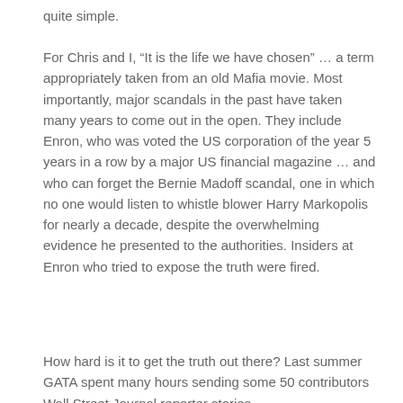quite simple.
For Chris and I, “It is the life we have chosen” … a term appropriately taken from an old Mafia movie. Most importantly, major scandals in the past have taken many years to come out in the open. They include Enron, who was voted the US corporation of the year 5 years in a row by a major US financial magazine … and who can forget the Bernie Madoff scandal, one in which no one would listen to whistle blower Harry Markopolis for nearly a decade, despite the overwhelming evidence he presented to the authorities. Insiders at Enron who tried to expose the truth were fired.
How hard is it to get the truth out there? Last summer GATA spent many hours sending some 50 contributors Wall Street Journal reporter stories...